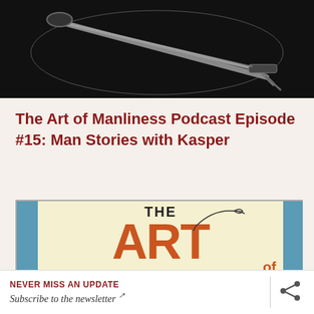[Figure (photo): Black and white photo of what appears to be a turntable or audio equipment, close-up shot at the top of the page]
The Art of Manliness Podcast Episode #15: Man Stories with Kasper
[Figure (illustration): Book cover illustration for 'The Art of Non-Conformity' with large orange ART text, teal/blue sides, and a sewing needle graphic]
NEVER MISS AN UPDATE
Subscribe to the newsletter